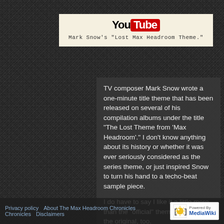[Figure (screenshot): YouTube logo with text: Mark Snow's "Lost Max Headroom Theme."]
TV composer Mark Snow wrote a one-minute title theme that has been released on several of his compilation albums under the title "The Lost Theme from 'Max Headroom'." I don't know anything about its history or whether it was ever seriously considered as the series theme, or just inspired Snow to turn his hand to a techo-beat sample piece.
I do have to say I like it a little more than the "official" theme - but I like the original, too.
Privacy policy   About The Max Headroom Chronicles   Disclaimers   Powered By MediaWiki